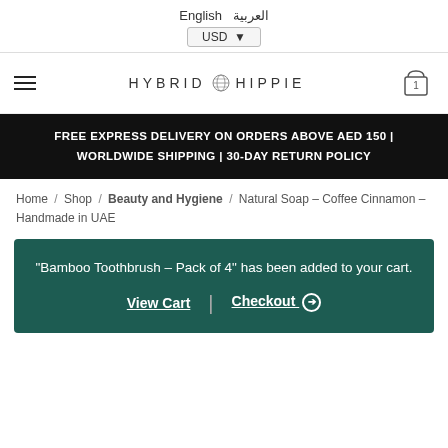English العربية USD
HYBRID HIPPIE
FREE EXPRESS DELIVERY ON ORDERS ABOVE AED 150 | WORLDWIDE SHIPPING | 30-DAY RETURN POLICY
Home / Shop / Beauty and Hygiene / Natural Soap – Coffee Cinnamon – Handmade in UAE
"Bamboo Toothbrush – Pack of 4" has been added to your cart. View Cart | Checkout ⊕